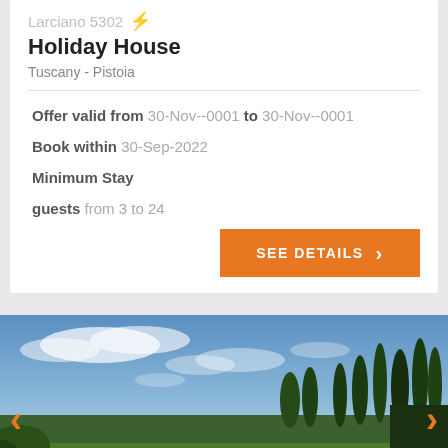Larciano 5302 ⚡
Holiday House
Tuscany - Pistoia
Offer valid from 30-Nov--0001 to 30-Nov--0001
Book within 30-Sep-2022
Minimum Stay
guests from 3 to 24
SEE DETAILS
[Figure (photo): Outdoor swimming pool with blue water in a Tuscan villa, surrounded by cypress trees and lush green landscape under a partly cloudy blue sky. Navigation arrows on left and right sides.]